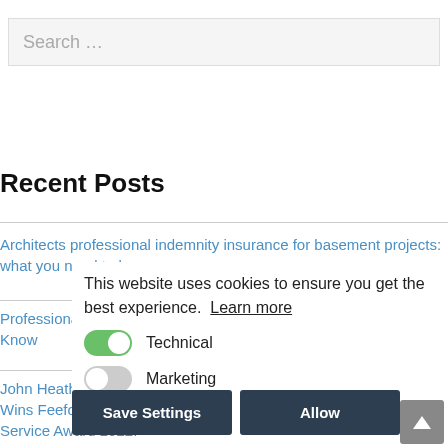Search …
Recent Posts
Architects professional indemnity insurance for basement projects: what you need to know
Professional Indemnity Insurance for Architects: What You Need to Know
John Heath Insurance Brokers Wins Feefo Trusted Platinum Service Award 2022!
This website uses cookies to ensure you get the best experience. Learn more
Technical
Marketing
Save Settings
Allow